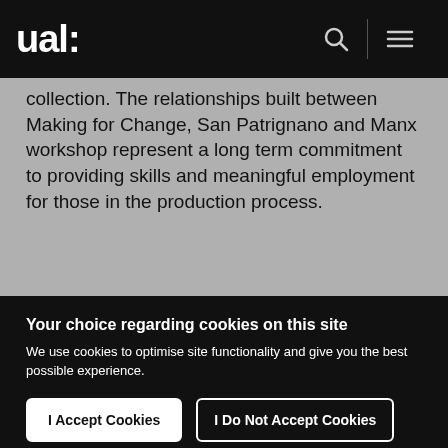ual:
collection. The relationships built between Making for Change, San Patrignano and Manx workshop represent a long term commitment to providing skills and meaningful employment for those in the production process.
Your choice regarding cookies on this site
We use cookies to optimise site functionality and give you the best possible experience.
I Accept Cookies
I Do Not Accept Cookies
Settings